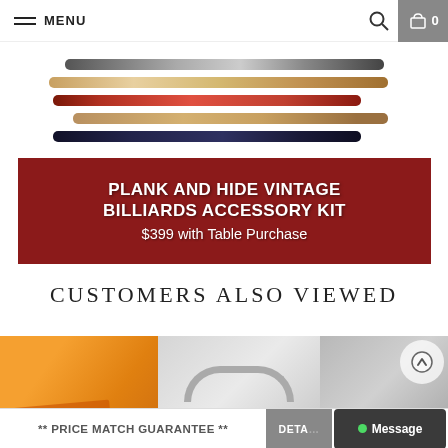MENU
[Figure (photo): Advertisement banner for Plank and Hide Vintage Billiards Accessory Kit showing five billiard cues on a dark red background with text overlay]
PLANK AND HIDE VINTAGE BILLIARDS ACCESSORY KIT
$399 with Table Purchase
CUSTOMERS ALSO VIEWED
[Figure (photo): Three partially visible product thumbnails in a row: an orange item on the left, a grey curved item in the center, and a grey item on the right with a scroll-to-top button]
** PRICE MATCH GUARANTEE **   DETAILS   Message